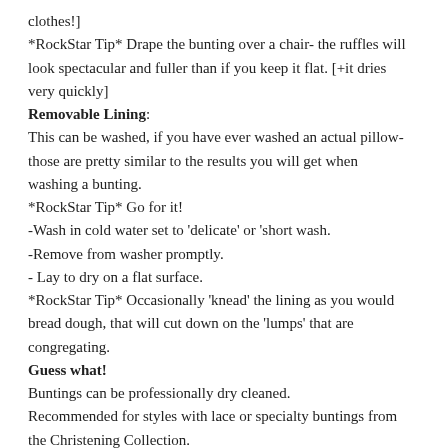clothes!]
*RockStar Tip* Drape the bunting over a chair- the ruffles will look spectacular and fuller than if you keep it flat. [+it dries very quickly]
Removable Lining:
This can be washed, if you have ever washed an actual pillow- those are pretty similar to the results you will get when washing a bunting.
*RockStar Tip* Go for it!
-Wash in cold water set to 'delicate' or 'short wash.
-Remove from washer promptly.
- Lay to dry on a flat surface.
*RockStar Tip* Occasionally 'knead' the lining as you would bread dough, that will cut down on the 'lumps' that are congregating.
Guess what!
Buntings can be professionally dry cleaned.
Recommended for styles with lace or specialty buntings from the Christening Collection.